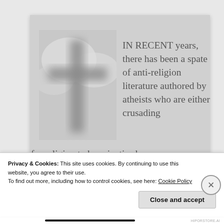[Figure (photo): A Christian cross photographed against a bright sky with clouds, rendered in monochrome/greyscale. The cross is dark grey against a light background.]
IN RECENT years, there has been a spate of anti-religion literature authored by atheists who are either crusading for religion to be privatised or
Privacy & Cookies: This site uses cookies. By continuing to use this website, you agree to their use.
To find out more, including how to control cookies, see here: Cookie Policy
Close and accept